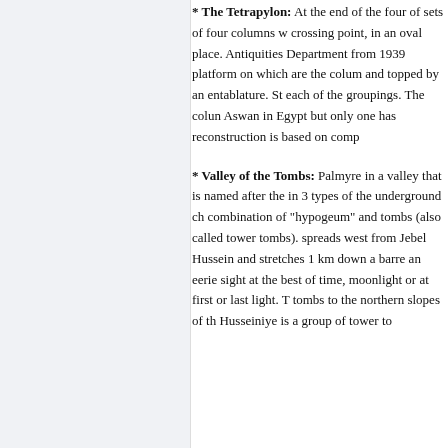* The Tetrapylon: At the end of the four of sets of four columns w crossing point, in an oval place. Antiquities Department from 1939 platform on which are the colum and topped by an entablature. St each of the groupings. The colun Aswan in Egypt but only one has reconstruction is based on comp
* Valley of the Tombs: Palmyre in a valley that is named after the in 3 types of the underground ch combination of "hypogeum" and tombs (also called tower tombs). spreads west from Jebel Hussein and stretches 1 km down a barre an eerie sight at the best of time, moonlight or at first or last light. T tombs to the northern slopes of th Husseiniye is a group of tower to